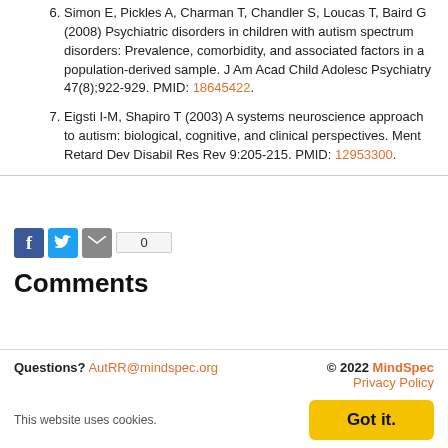6. Simon E, Pickles A, Charman T, Chandler S, Loucas T, Baird G (2008) Psychiatric disorders in children with autism spectrum disorders: Prevalence, comorbidity, and associated factors in a population-derived sample. J Am Acad Child Adolesc Psychiatry 47(8);922-929. PMID: 18645422.
7. Eigsti I-M, Shapiro T (2003) A systems neuroscience approach to autism: biological, cognitive, and clinical perspectives. Ment Retard Dev Disabil Res Rev 9:205-215. PMID: 12953300.
[Figure (other): Social share bar with Facebook, Twitter, email icons and a count box showing 0]
Comments
Questions? AutRR@mindspec.org  © 2022 MindSpec  Privacy Policy  This website uses cookies. Got it.